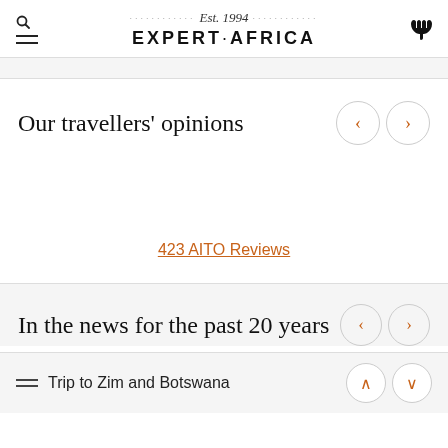Est. 1994 EXPERT·AFRICA
Our travellers' opinions
423 AITO Reviews
In the news for the past 20 years
Trip to Zim and Botswana